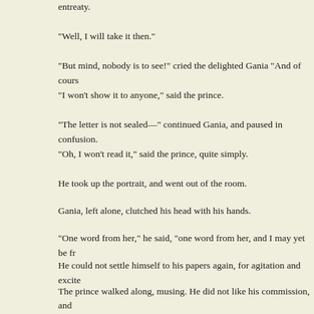entreaty.
"Well, I will take it then."
"But mind, nobody is to see!" cried the delighted Gania "And of cours
"I won't show it to anyone," said the prince.
"The letter is not sealed—" continued Gania, and paused in confusion.
"Oh, I won't read it," said the prince, quite simply.
He took up the portrait, and went out of the room.
Gania, left alone, clutched his head with his hands.
"One word from her," he said, "one word from her, and I may yet be fr
He could not settle himself to his papers again, for agitation and excite
The prince walked along, musing. He did not like his commission, and distant from the drawing-room, where they all were, he stopped a thou portrait in his hand.
He longed to solve the mystery of something in the face Nastasia Phili the impression had not left him. It was partly the fact of her marvellou immense pride and disdain in the face almost of hatred, and at the sam sympathy in his heart as he looked at the lovely face. The blinding love strange beauty.